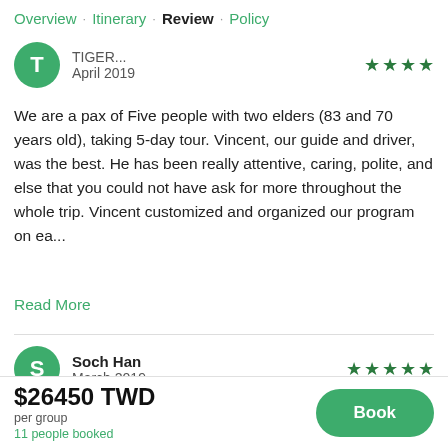Overview · Itinerary · Review · Policy
April 2019
We are a pax of Five people with two elders (83 and 70 years old), taking 5-day tour. Vincent, our guide and driver, was the best. He has been really attentive, caring, polite, and else that you could not have ask for more throughout the whole trip. Vincent customized and organized our program on ea...
Read More
Soch Han
March 2019
We could not have hoped for a better and more patient driver than
$26450 TWD
per group
11 people booked